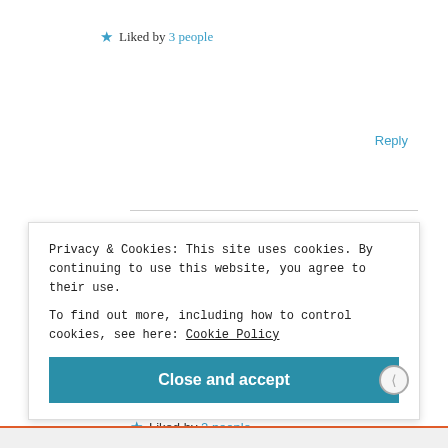★ Liked by 3 people
Reply
libarah
November 18, 2018 at 3:36 pm
[Figure (photo): Avatar image of user libarah]
Thank you dear 😍
★ Liked by 2 people
Privacy & Cookies: This site uses cookies. By continuing to use this website, you agree to their use.
To find out more, including how to control cookies, see here: Cookie Policy
Close and accept